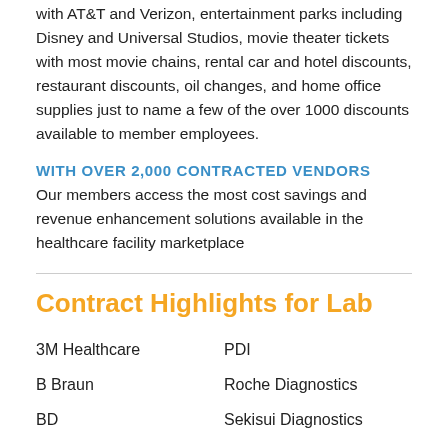with AT&T and Verizon, entertainment parks including Disney and Universal Studios, movie theater tickets with most movie chains, rental car and hotel discounts, restaurant discounts, oil changes, and home office supplies just to name a few of the over 1000 discounts available to member employees.
WITH OVER 2,000 CONTRACTED VENDORS
Our members access the most cost savings and revenue enhancement solutions available in the healthcare facility marketplace
Contract Highlights for Lab
3M Healthcare
PDI
B Braun
Roche Diagnostics
BD
Sekisui Diagnostics
Bio Rad Labs
Sempermed
Comfort Release
Siemens Medical